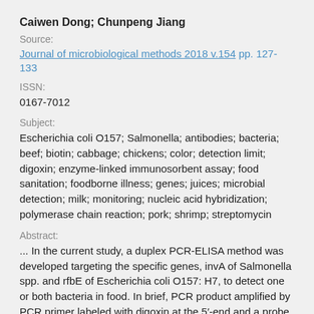Caiwen Dong; Chunpeng Jiang
Source:
Journal of microbiological methods 2018 v.154 pp. 127-133
ISSN:
0167-7012
Subject:
Escherichia coli O157; Salmonella; antibodies; bacteria; beef; biotin; cabbage; chickens; color; detection limit; digoxin; enzyme-linked immunosorbent assay; food sanitation; foodborne illness; genes; juices; microbial detection; milk; monitoring; nucleic acid hybridization; polymerase chain reaction; pork; shrimp; streptomycin
Abstract:
... In the current study, a duplex PCR-ELISA method was developed targeting the specific genes, invA of Salmonella spp. and rfbE of Escherichia coli O157: H7, to detect one or both bacteria in food. In brief, PCR product amplified by PCR primer labeled with digoxin at the 5′-end and a probe labeled with biotin at the 3′-end, after mediating the